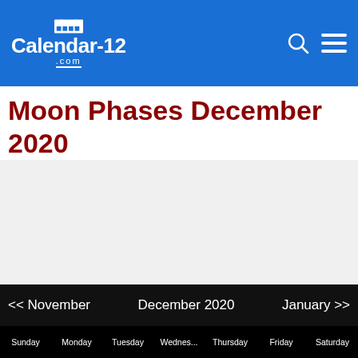Calendar-12.com
Moon Phases December 2020
<< November   December 2020   January >>
Sunday  Monday  Tuesday  Wednes...  Thursday  Friday  Saturday